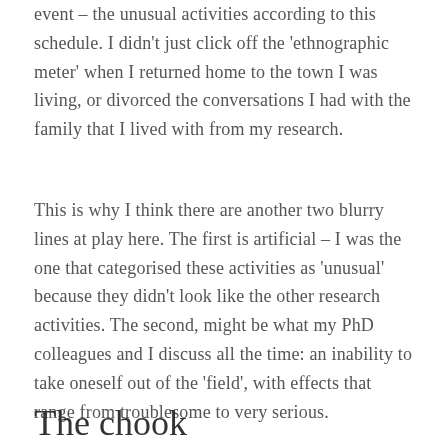event – the unusual activities according to this schedule. I didn't just click off the 'ethnographic meter' when I returned home to the town I was living, or divorced the conversations I had with the family that I lived with from my research.
This is why I think there are another two blurry lines at play here. The first is artificial – I was the one that categorised these activities as 'unusual' because they didn't look like the other research activities. The second, might be what my PhD colleagues and I discuss all the time: an inability to take oneself out of the 'field', with effects that range from troublesome to very serious.
The chook